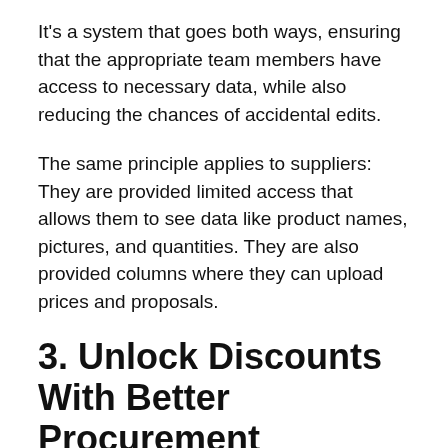It's a system that goes both ways, ensuring that the appropriate team members have access to necessary data, while also reducing the chances of accidental edits.
The same principle applies to suppliers: They are provided limited access that allows them to see data like product names, pictures, and quantities. They are also provided columns where they can upload prices and proposals.
3. Unlock Discounts With Better Procurement Practices
Student housing comes with bulk purchases of many products in large multiples. That alone often entitles property managers to discounts, but the